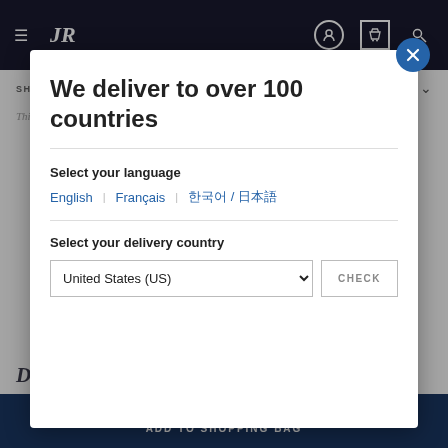[Figure (screenshot): Background of a luxury e-commerce website (Jean Rousseau) with dark navy header, shipping options section, and product description text visible behind a modal overlay.]
We deliver to over 100 countries
Select your language
English   Français   한국어 / 日本語
Select your delivery country
United States (US)
CHECK
520$
ADD TO SHOPPING BAG